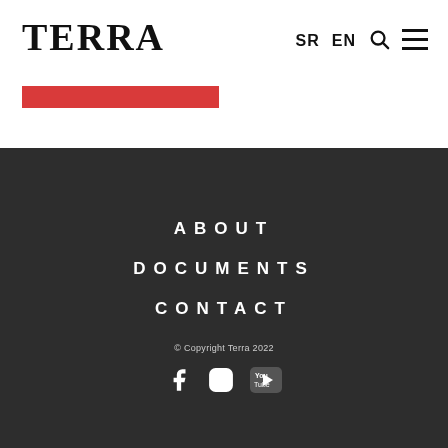TERRA  SR  EN
ABOUT
DOCUMENTS
CONTACT
© Copyright Terra 2022